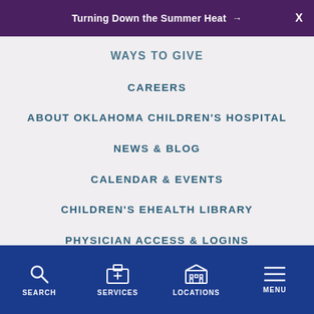Turning Down the Summer Heat →  X
WAYS TO GIVE
CAREERS
ABOUT OKLAHOMA CHILDREN'S HOSPITAL
NEWS & BLOG
CALENDAR & EVENTS
CHILDREN'S EHEALTH LIBRARY
PHYSICIAN ACCESS & LOGINS
SEARCH  SERVICES  LOCATIONS  MENU